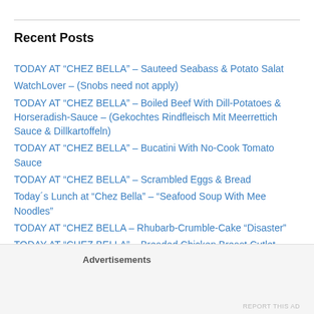Recent Posts
TODAY AT “CHEZ BELLA” – Sauteed Seabass & Potato Salat
WatchLover – (Snobs need not apply)
TODAY AT “CHEZ BELLA” – Boiled Beef With Dill-Potatoes & Horseradish-Sauce – (Gekochtes Rindfleisch Mit Meerrettich Sauce & Dillkartoffeln)
TODAY AT “CHEZ BELLA” – Bucatini With No-Cook Tomato Sauce
TODAY AT “CHEZ BELLA” – Scrambled Eggs & Bread
Today´s Lunch at “Chez Bella” – “Seafood Soup With Mee Noodles”
TODAY AT “CHEZ BELLA – Rhubarb-Crumble-Cake “Disaster”
TODAY AT “CHEZ BELLA” – Breaded Chicken Breast Cutlet (Paniertes Hühner Schnitzel)
TODAY AT “CHEZ BELLA” – Pork Knuckle (Schweins Haxe)
Today at “Chez Bella” – Bucatini cooked in Red Wine & Buttered
Advertisements
REPORT THIS AD